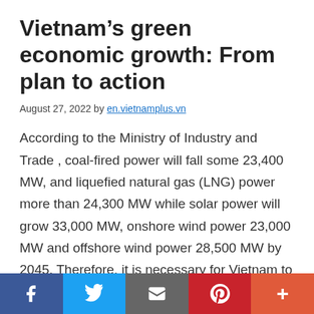Vietnam's green economic growth: From plan to action
August 27, 2022 by en.vietnamplus.vn
According to the Ministry of Industry and Trade , coal-fired power will fall some 23,400 MW, and liquefied natural gas (LNG) power more than 24,300 MW while solar power will grow 33,000 MW, onshore wind power 23,000 MW and offshore wind power 28,500 MW by 2045. Therefore, it is necessary for Vietnam to develop policies that encourage investment in clean energies. According to the National Load Dispatch Centre, wind and solar
Social share bar: Facebook, Twitter, Email, Pinterest, More